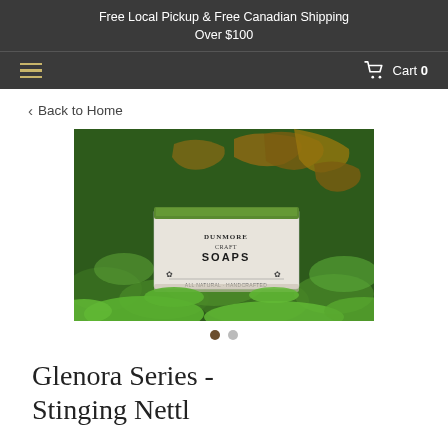Free Local Pickup & Free Canadian Shipping Over $100
< Back to Home
[Figure (photo): A bar of soap with a white label reading 'SOAPS' sitting on bright green moss, with autumn leaves in the background. The soap has a green herb-topped layer.]
Glenora Series - Stinging Nettle